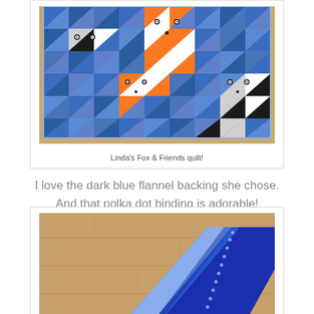[Figure (photo): A patchwork quilt made of triangles in blue, orange, white, black, and gray, arranged on a wooden floor. The quilt features fox faces created from the triangle pattern.]
Linda's Fox & Friends quilt!
I love the dark blue flannel backing she chose. And that polka dot binding is adorable!
[Figure (photo): Close-up of the quilt folded over, showing the dark navy blue flannel backing and a blue polka dot binding along the edge, on a wooden floor.]